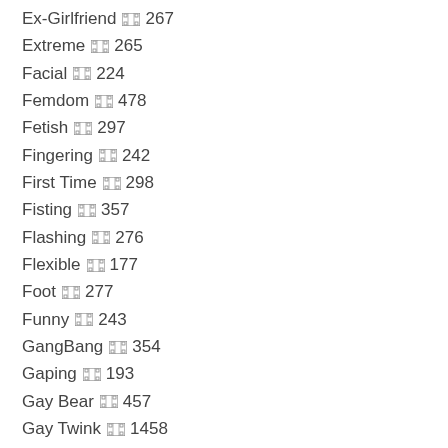Ex-Girlfriend  267
Extreme  265
Facial  224
Femdom  478
Fetish  297
Fingering  242
First Time  298
Fisting  357
Flashing  276
Flexible  177
Foot  277
Funny  243
GangBang  354
Gaping  193
Gay Bear  457
Gay Twink  1458
Glamour  174
Glamour  363